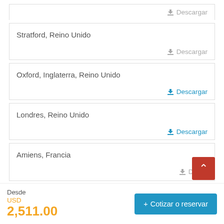Descargar
Stratford, Reino Unido — Descargar
Oxford, Inglaterra, Reino Unido — Descargar
Londres, Reino Unido — Descargar
Amiens, Francia — Descargar
Desde USD 2,511.00
+ Cotizar o reservar